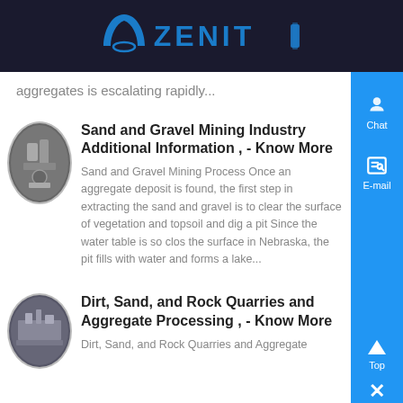ZENIT
aggregates is escalating rapidly...
[Figure (photo): Oval thumbnail image of industrial mining equipment]
Sand and Gravel Mining Industry Additional Information , - Know More
Sand and Gravel Mining Process Once an aggregate deposit is found, the first step in extracting the sand and gravel is to clear the surface of vegetation and topsoil and dig a pit Since the water table is so close the surface in Nebraska, the pit fills with water and forms a lake...
[Figure (photo): Oval thumbnail image of industrial quarry/mining site]
Dirt, Sand, and Rock Quarries and Aggregate Processing , - Know More
Dirt, Sand, and Rock Quarries and Aggregate